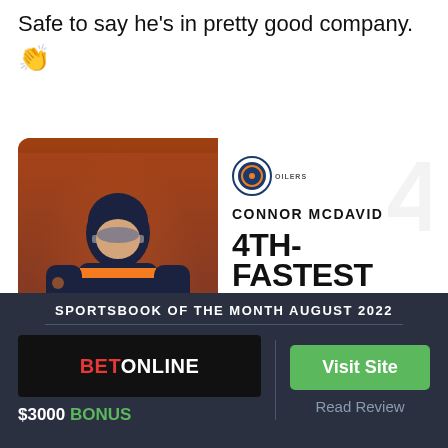Safe to say he's in pretty good company. 👏
[Figure (photo): Social media post showing Connor McDavid in Edmonton Oilers uniform, with card overlay stating '4TH-FASTEST TO 400 CAREER' with Oilers logo]
SPORTSBOOK OF THE MONTH AUGUST 2022
[Figure (logo): BetOnline logo on black background]
$3000 BONUS
Visit Site
Read Review